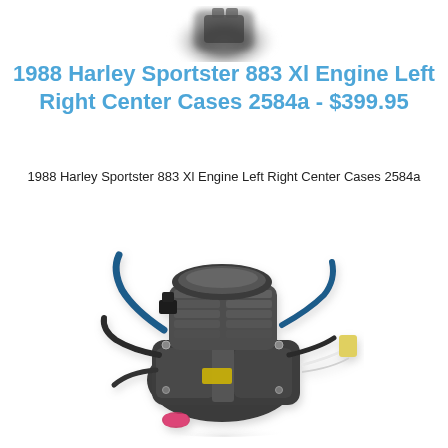[Figure (photo): Small partial photo of a Harley engine component at the top of the page, cropped]
1988 Harley Sportster 883 Xl Engine Left Right Center Cases 2584a - $399.95
1988 Harley Sportster 883 Xl Engine Left Right Center Cases 2584a
[Figure (photo): Photo of a used Harley-Davidson Sportster 883 XL engine with visible hoses, wiring, and black metal components against a white background]